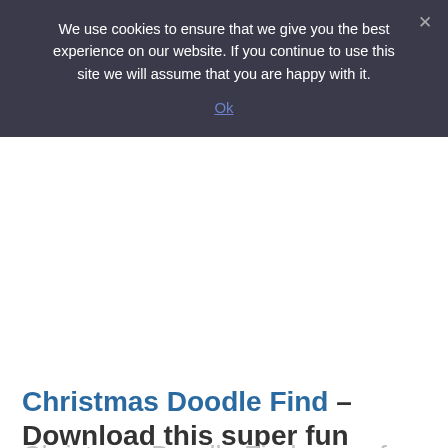We use cookies to ensure that we give you the best experience on our website. If you continue to use this site we will assume that you are happy with it.
Ok
Christmas Doodle Find – Download this super fun
Christmas Doodle Find game for a family game night to challe...